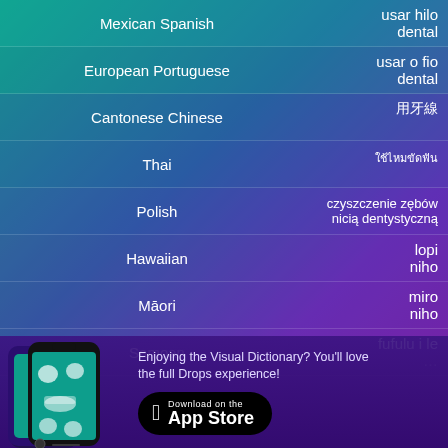Mexican Spanish | usar hilo dental
European Portuguese | usar o fio dental
Cantonese Chinese | 用牙線
Thai | ใช้ไหมขัดฟัน
Polish | czyszczenie zębów nicią dentystyczną
Hawaiian | lopi niho
Māori | miro niho
Samoan | fufulu i le...
[Figure (screenshot): Smartphone screenshot showing the Drops visual dictionary app interface with food/item images on a teal background]
Enjoying the Visual Dictionary? You'll love the full Drops experience!
Download on the App Store